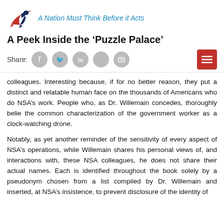A Nation Must Think Before it Acts
A Peek Inside the ‘Puzzle Palace’
colleagues. Interesting because, if for no better reason, they put a distinct and relatable human face on the thousands of Americans who do NSA’s work. People who, as Dr. Willemain concedes, thoroughly belie the common characterization of the government worker as a clock-watching drone.
Notably, as yet another reminder of the sensitivity of every aspect of NSA’s operations, while Willemain shares his personal views of, and interactions with, these NSA colleagues, he does not share their actual names. Each is identified throughout the book solely by a pseudonym chosen from a list compiled by Dr. Willemain and inserted, at NSA’s insistence, to prevent disclosure of the identity of